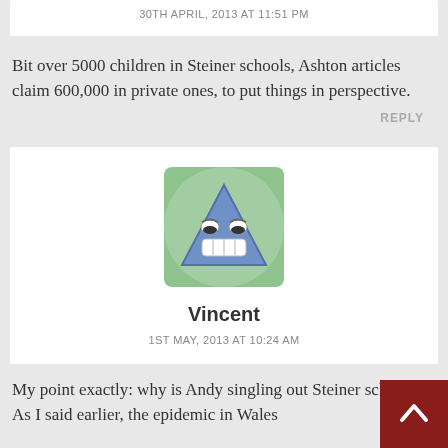30TH APRIL, 2013 AT 11:51 PM
Bit over 5000 children in Steiner schools, Ashton articles claim 600,000 in private ones, to put things in perspective.
REPLY
[Figure (illustration): Avatar icon of a blue triangular cartoon character with a grinning face on a green background]
Vincent
1ST MAY, 2013 AT 10:24 AM
My point exactly: why is Andy singling out Steiner schools? As I said earlier, the epidemic in Wales...